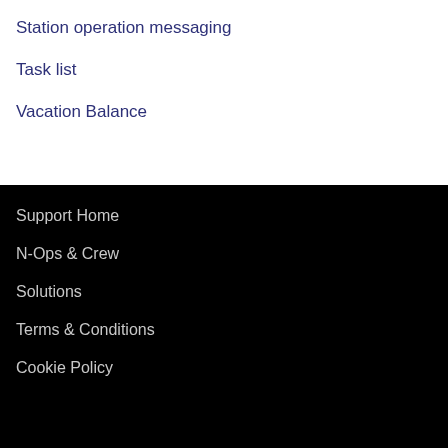Station operation messaging
Task list
Vacation Balance
Support Home
N-Ops & Crew
Solutions
Terms & Conditions
Cookie Policy